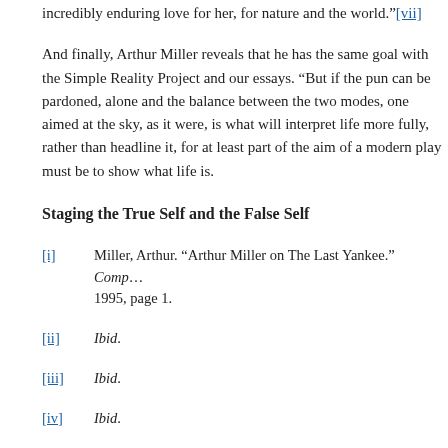incredibly enduring love for her, for nature and the world.”[vii]
And finally, Arthur Miller reveals that he has the same goal with the Simple Reality Project and our essays. “But if the pun can be pardoned, alone and the balance between the two modes, one aimed at the sky, as it were, is what will interpret life more fully, rather than headline it, for at least part of the aim of a modern play must be to show what life is.
Staging the True Self and the False Self
[i]   Miller, Arthur. “Arthur Miller on The Last Yankee.” Comp... 1995, page 1.
[ii]   Ibid.
[iii]   Ibid.
[iv]   Ibid.